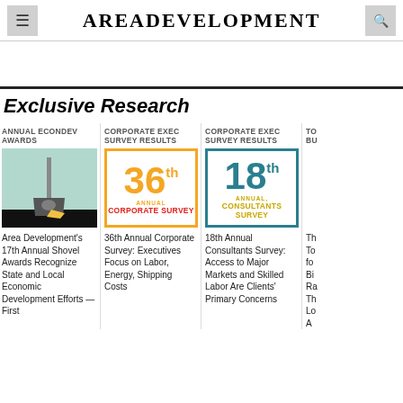AREADEVELOPMENT
Exclusive Research
ANNUAL ECONDEV AWARDS
[Figure (illustration): Illustration of a golden shovel on teal/mint background]
Area Development's 17th Annual Shovel Awards Recognize State and Local Economic Development Efforts — First
CORPORATE EXEC SURVEY RESULTS
[Figure (illustration): 36th Annual Corporate Survey badge with orange border and large orange 36th text]
36th Annual Corporate Survey: Executives Focus on Labor, Energy, Shipping Costs
CORPORATE EXEC SURVEY RESULTS
[Figure (illustration): 18th Annual Consultants Survey badge with teal border, large teal 18th, yellow subtitle]
18th Annual Consultants Survey: Access to Major Markets and Skilled Labor Are Clients' Primary Concerns
TO BU